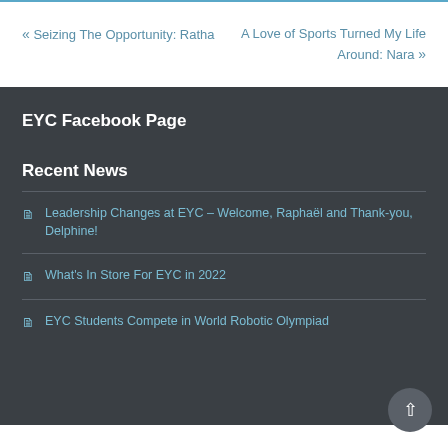« Seizing The Opportunity: Ratha
A Love of Sports Turned My Life Around: Nara »
EYC Facebook Page
Recent News
Leadership Changes at EYC – Welcome, Raphaël and Thank-you, Delphine!
What's In Store For EYC in 2022
EYC Students Compete in World Robotic Olympiad